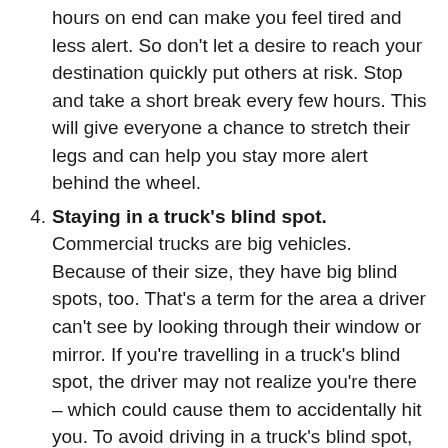hours on end can make you feel tired and less alert. So don't let a desire to reach your destination quickly put others at risk. Stop and take a short break every few hours. This will give everyone a chance to stretch their legs and can help you stay more alert behind the wheel.
4. Staying in a truck's blind spot. Commercial trucks are big vehicles. Because of their size, they have big blind spots, too. That's a term for the area a driver can't see by looking through their window or mirror. If you're travelling in a truck's blind spot, the driver may not realize you're there – which could cause them to accidentally hit you. To avoid driving in a truck's blind spot, follow this rule of thumb: If you can't see the driver in his side mirror, he can't see you either.